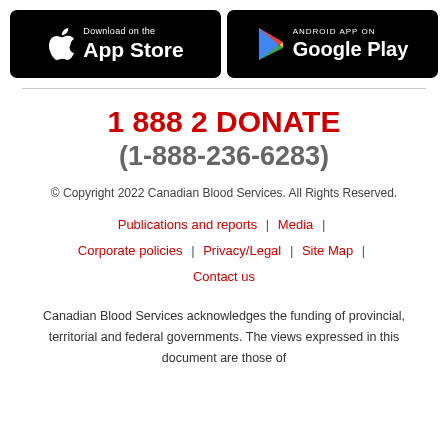[Figure (logo): Download on the App Store badge (black background, Apple logo)]
[Figure (logo): Android App on Google Play badge (black background, Play Store triangle logo)]
1 888 2 DONATE
(1-888-236-6283)
© Copyright 2022 Canadian Blood Services. All Rights Reserved.
Publications and reports | Media | Corporate policies | Privacy/Legal | Site Map | Contact us
Canadian Blood Services acknowledges the funding of provincial, territorial and federal governments. The views expressed in this document are those of